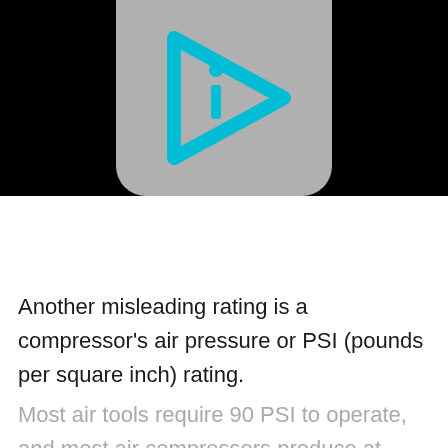[Figure (logo): A gray rounded rectangle logo with a cyan/teal play-button triangle outline and a lowercase letter 'i' in the center, on a black background banner.]
Another misleading rating is a compressor's air pressure or PSI (pounds per square inch) rating. Most air tools require 90 PSI to operate, and most air compressors produce at least 90 PSI, meaning